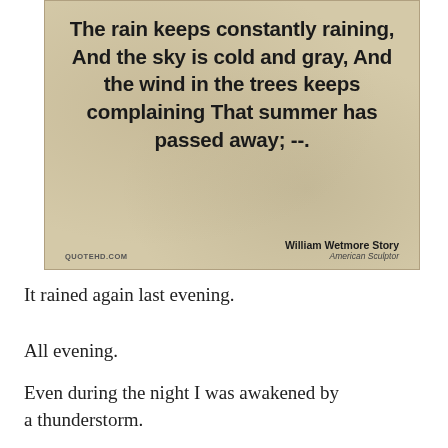[Figure (illustration): Quote image on aged parchment background. Text reads: 'The rain keeps constantly raining, And the sky is cold and gray, And the wind in the trees keeps complaining That summer has passed away; --.' Attribution: William Wetmore Story, American Sculptor. Source: QUOTEHD.COM]
It rained again last evening.
All evening.
Even during the night I was awakened by a thunderstorm.